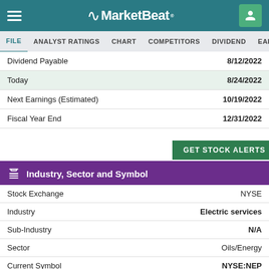MarketBeat
FILE  ANALYST RATINGS  CHART  COMPETITORS  DIVIDEND  EARNINGS > FIN
|  |  |
| --- | --- |
| Dividend Payable | 8/12/2022 |
| Today | 8/24/2022 |
| Next Earnings (Estimated) | 10/19/2022 |
| Fiscal Year End | 12/31/2022 |
GET STOCK ALERTS
Industry, Sector and Symbol
|  |  |
| --- | --- |
| Stock Exchange | NYSE |
| Industry | Electric services |
| Sub-Industry | N/A |
| Sector | Oils/Energy |
| Current Symbol | NYSE:NEP |
| CUSIP | N/A |
| CIK | 1603145 |